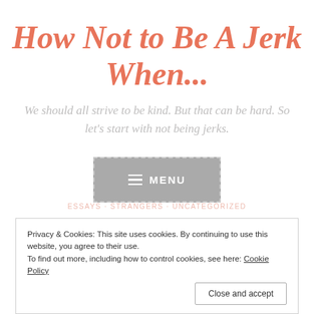How Not to Be A Jerk When...
We should all strive to be kind. But that can be hard. So let's start with not being jerks.
[Figure (other): Menu button with hamburger icon and text MENU on a grey background with dashed border]
ESSAYS · STRANGERS · UNCATEGORIZED
There is a Disease Outbreak (Part 2 of Who the Hell Knows)
Privacy & Cookies: This site uses cookies. By continuing to use this website, you agree to their use.
To find out more, including how to control cookies, see here: Cookie Policy
Close and accept